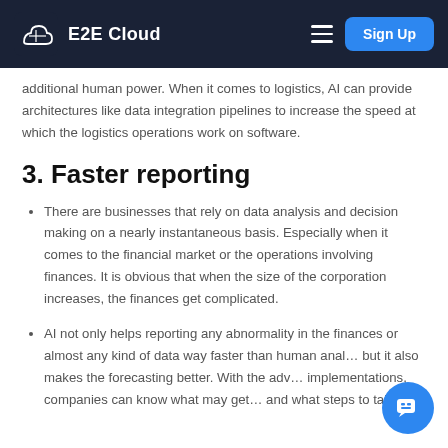E2E Cloud | Sign Up
additional human power. When it comes to logistics, AI can provide architectures like data integration pipelines to increase the speed at which the logistics operations work on software.
3. Faster reporting
There are businesses that rely on data analysis and decision making on a nearly instantaneous basis. Especially when it comes to the financial market or the operations involving finances. It is obvious that when the size of the corporation increases, the finances get complicated.
AI not only helps reporting any abnormality in the finances or almost any kind of data way faster than human analysts, but it also makes the forecasting better. With the advanced implementations, companies can know what may get wrong and what steps to take.